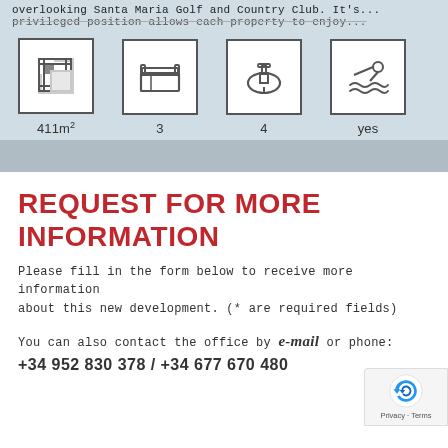overlooking Santa Maria Golf and Country Club. It's...
privileged position allows each property to enjoy...
[Figure (infographic): Four property feature icons: floor plan (411m²), bedrooms (3), bathrooms (4), pool (yes)]
REQUEST FOR MORE INFORMATION
Please fill in the form below to receive more information about this new development. (* are required fields)
You can also contact the office by e-mail or phone:
+34 952 830 378 / +34 677 670 480